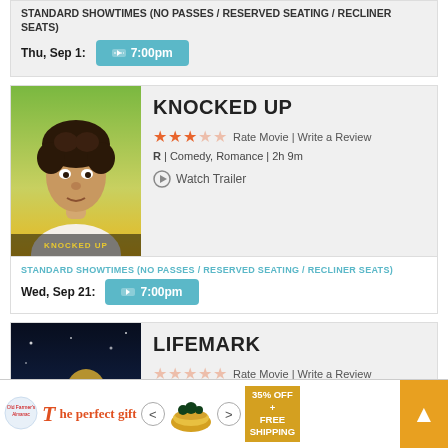STANDARD SHOWTIMES (NO PASSES / RESERVED SEATING / RECLINER SEATS)
Thu, Sep 1: 7:00pm
KNOCKED UP
Rate Movie | Write a Review
R | Comedy, Romance | 2h 9m
Watch Trailer
STANDARD SHOWTIMES (NO PASSES / RESERVED SEATING / RECLINER SEATS)
Wed, Sep 21: 7:00pm
[Figure (photo): Movie poster for Knocked Up]
LIFEMARK
Rate Movie | Write a Review
PG-13 | Other | 2h 0m
[Figure (photo): Movie poster for Lifemark]
STAND... RECLIN...
The perfect gift
35% OFF + FREE SHIPPING